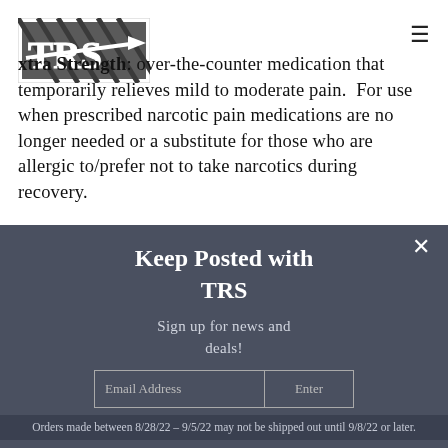[Figure (logo): TRS logo — white letters TRS on dark hatched background]
Extra Strength: over-the-counter medication that temporarily relieves mild to moderate pain. For use when prescribed narcotic pain medications are no longer needed or a substitute for those who are allergic to/prefer not to take narcotics during recovery.
Keep Posted with TRS
Sign up for news and deals!
Orders made between 8/28/22 – 9/5/22 may not be shipped out until 9/8/22 or later.